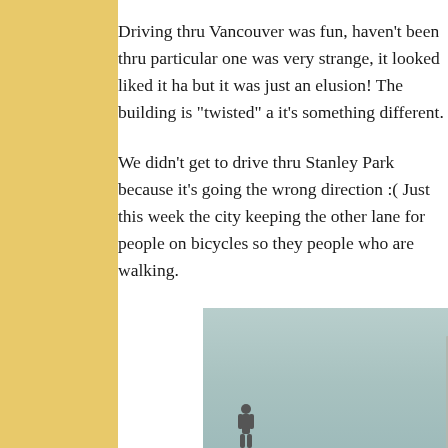Driving thru Vancouver was fun, haven't been thru particular one was very strange, it looked liked it ha but it was just an elusion! The building is "twisted" a it's something different.
We didn't get to drive thru Stanley Park because it's going the wrong direction :(  Just this week the city keeping the other lane for people on bicycles so they people who are walking.
[Figure (photo): A photo showing a partial view of a twisted or unusual building structure against a pale teal/grey sky background. The building appears to be a modern construction with a distinctive grid-like or honeycomb facade. A small figure of a person is visible at the bottom left.]